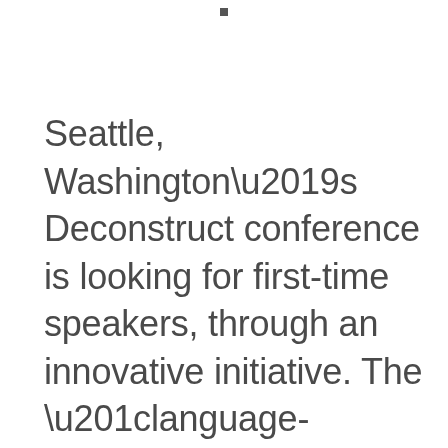Seattle, Washington's Deconstruct conference is looking for first-time speakers, through an innovative initiative. The “language-agnostic,” sponsor-less, single-track software development conference – taking place in May 2018 – is encouraging submissions from diverse